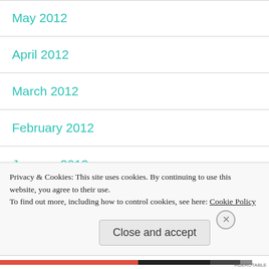May 2012
April 2012
March 2012
February 2012
January 2012
December 2011
Privacy & Cookies: This site uses cookies. By continuing to use this website, you agree to their use.
To find out more, including how to control cookies, see here: Cookie Policy
Close and accept